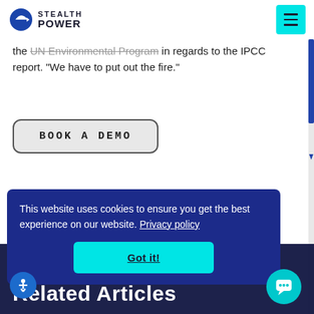Stealth Power
the UN Environmental Program in regards to the IPCC report. "We have to put out the fire."
BOOK A DEMO
This website uses cookies to ensure you get the best experience on our website. Privacy policy
Got it!
Related Articles